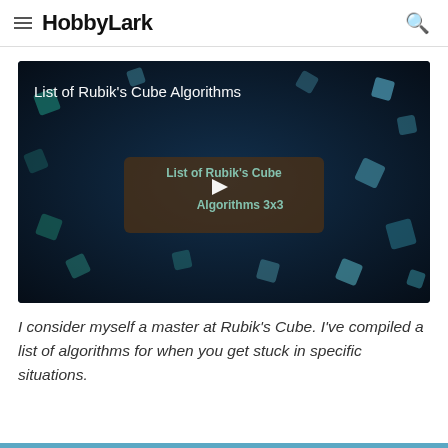HobbyLark
[Figure (screenshot): Video thumbnail for 'List of Rubik's Cube Algorithms 3x3' showing floating Rubik's cube pieces on a dark blue background with a play button in the center]
I consider myself a master at Rubik's Cube. I've compiled a list of algorithms for when you get stuck in specific situations.